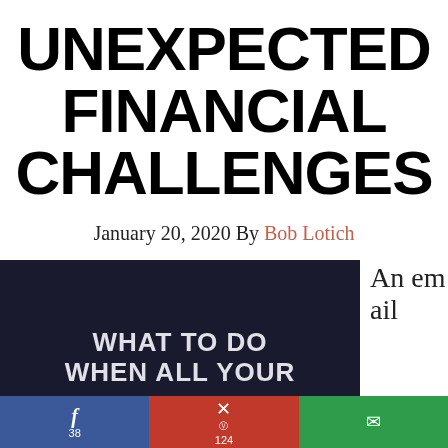UNEXPECTED FINANCIAL CHALLENGES
January 20, 2020 By Bob Lotich
–
[Figure (illustration): Dark navy background image with white text reading 'WHAT TO DO WHEN ALL YOUR' in large bold letters. To the right of the image is the partial text 'An email'.]
f 38 | ℗ 124 | email icon